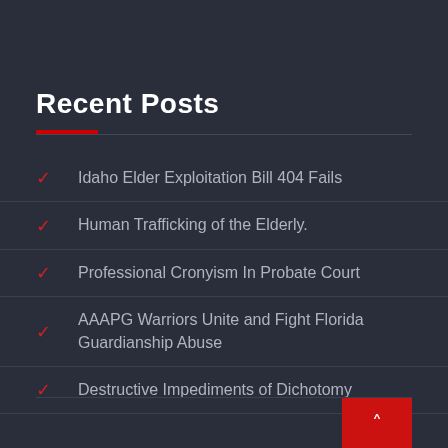Recent Posts
Idaho Elder Exploitation Bill 404 Fails
Human Trafficking of the Elderly.
Professional Cronyism In Probate Court
AAAPG Warriors Unite and Fight Florida Guardianship Abuse
Destructive Impediments of Dichotomy